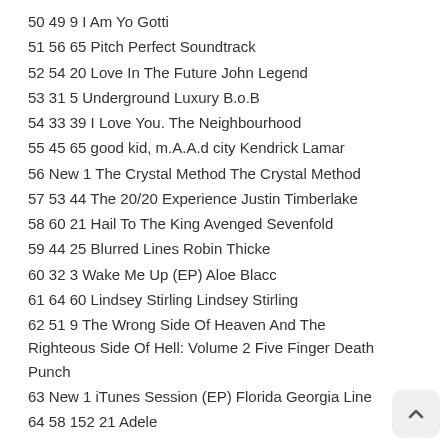50 49 9 I Am Yo Gotti
51 56 65 Pitch Perfect Soundtrack
52 54 20 Love In The Future John Legend
53 31 5 Underground Luxury B.o.B
54 33 39 I Love You. The Neighbourhood
55 45 65 good kid, m.A.A.d city Kendrick Lamar
56 New 1 The Crystal Method The Crystal Method
57 53 44 The 20/20 Experience Justin Timberlake
58 60 21 Hail To The King Avenged Sevenfold
59 44 25 Blurred Lines Robin Thicke
60 32 3 Wake Me Up (EP) Aloe Blacc
61 64 60 Lindsey Stirling Lindsey Stirling
62 51 9 The Wrong Side Of Heaven And The Righteous Side Of Hell: Volume 2 Five Finger Death Punch
63 New 1 iTunes Session (EP) Florida Georgia Line
64 58 152 21 Adele